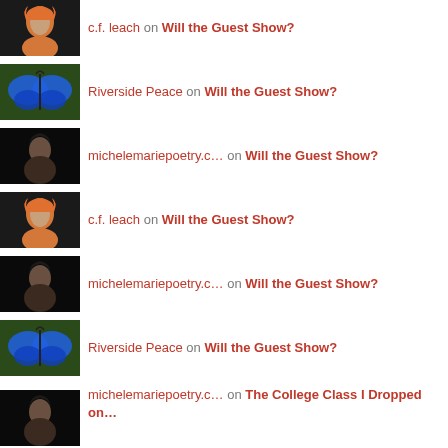c.f. leach on Will the Guest Show?
Riverside Peace on Will the Guest Show?
michelemariepoetry.c… on Will the Guest Show?
c.f. leach on Will the Guest Show?
michelemariepoetry.c… on Will the Guest Show?
Riverside Peace on Will the Guest Show?
michelemariepoetry.c… on The College Class I Dropped on…
[Figure (illustration): Purple decorative icon at bottom]